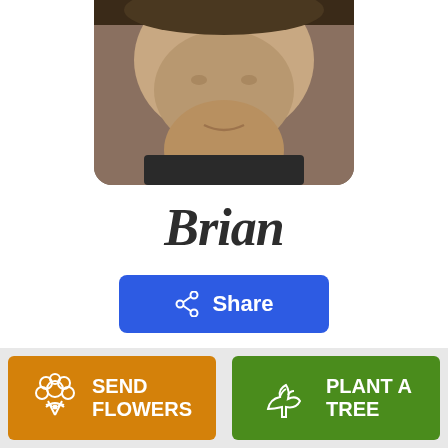[Figure (photo): Close-up photo of a man's face, bottom portion visible, cropped at top]
Brian
Share
Brian Poellinger
April 11, 2019
SEND FLOWERS
PLANT A TREE